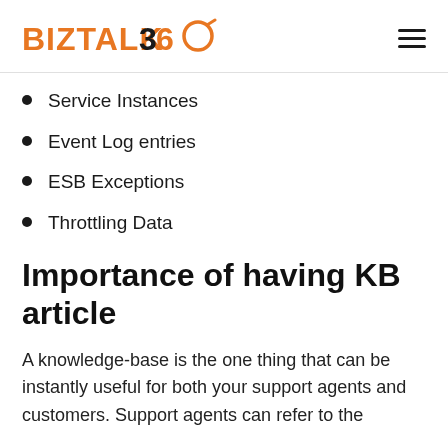BIZTALK 360
Service Instances
Event Log entries
ESB Exceptions
Throttling Data
Importance of having KB article
A knowledge-base is the one thing that can be instantly useful for both your support agents and customers. Support agents can refer to the